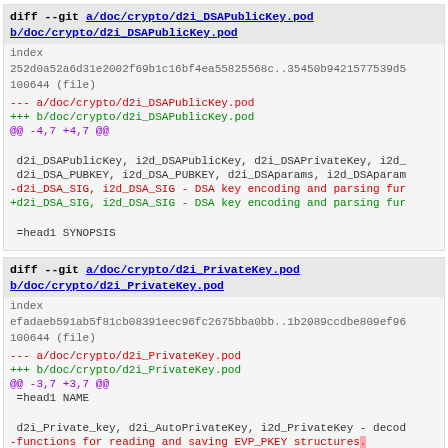diff --git a/doc/crypto/d2i_DSAPublicKey.pod b/doc/crypto/d2i_DSAPublicKey.pod
index
252d0a52a6d31e2002f69b1c16bf4ea55825568c..35450b9421577539d5
100644 (file)
--- a/doc/crypto/d2i_DSAPublicKey.pod
+++ b/doc/crypto/d2i_DSAPublicKey.pod
@@ -4,7 +4,7 @@

 d2i_DSAPublicKey, i2d_DSAPublicKey, d2i_DSAPrivateKey, i2d_
 d2i_DSA_PUBKEY, i2d_DSA_PUBKEY, d2i_DSAparams, i2d_DSAparam
-d2i_DSA_SIG, i2d_DSA_SIG - DSA key encoding and parsing fur
+d2i_DSA_SIG, i2d_DSA_SIG - DSA key encoding and parsing fur

 =head1 SYNOPSIS
diff --git a/doc/crypto/d2i_PrivateKey.pod b/doc/crypto/d2i_PrivateKey.pod
index
efadaeb591ab5f81cb08391eec96fc2675bba0bb..1b2089ccdbe809ef96
100644 (file)
--- a/doc/crypto/d2i_PrivateKey.pod
+++ b/doc/crypto/d2i_PrivateKey.pod
@@ -3,7 +3,7 @@
 =head1 NAME

 d2i_Private_key, d2i_AutoPrivateKey, i2d_PrivateKey - decod
-functions for reading and saving EVP_PKEY structures.
+functions for reading and saving EVP_PKEY structures